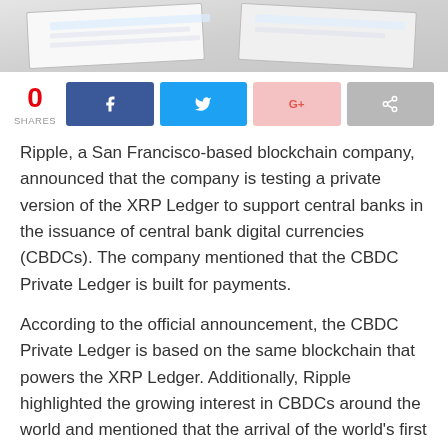[Figure (photo): Top portion of an article page showing a blurred/cropped image of financial documents or certificates at the top]
0 SHARES
[Figure (infographic): Social sharing bar with Facebook, Twitter, Google+, and generic share buttons]
Ripple, a San Francisco-based blockchain company, announced that the company is testing a private version of the XRP Ledger to support central banks in the issuance of central bank digital currencies (CBDCs). The company mentioned that the CBDC Private Ledger is built for payments.
According to the official announcement, the CBDC Private Ledger is based on the same blockchain that powers the XRP Ledger. Additionally, Ripple highlighted the growing interest in CBDCs around the world and mentioned that the arrival of the world's first CBDC is inevitable.
The blockchain company mentioned that most blockchains